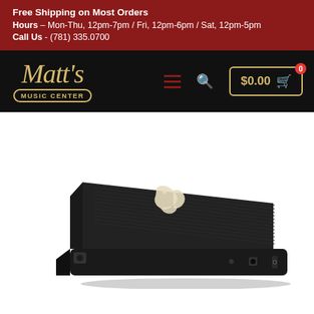Free Shipping on Most Orders
Hours - Mon-Thu, 12pm-7pm / Fri, 12pm-6pm / Sat, 12pm-5pm
Call Us - (781) 335.0700
[Figure (logo): Matt's Music Center logo in gold script on black navigation bar, with hamburger menu icon, search icon, and cart button showing $0.00 with 0 items badge]
[Figure (photo): Black guitar wah/volume effects pedal viewed from a slight angle, showing textured top surface with a white bird/phoenix logo, jack inputs on the side, and audio output jack at the front]